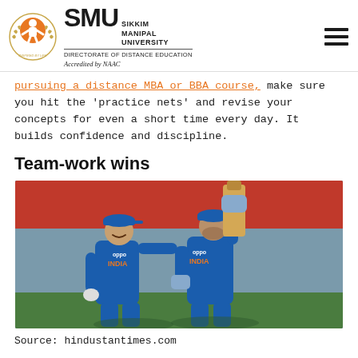[Figure (logo): SMU Sikkim Manipal University logo with orange emblem and text 'Directorate of Distance Education, Accredited by NAAC']
pursuing a distance MBA or BBA course, make sure you hit the 'practice nets' and revise your concepts for even a short time every day. It builds confidence and discipline.
Team-work wins
[Figure (photo): Two Indian cricket players in blue OPPO India jerseys celebrating, one holding a bat raised high]
Source: hindustantimes.com